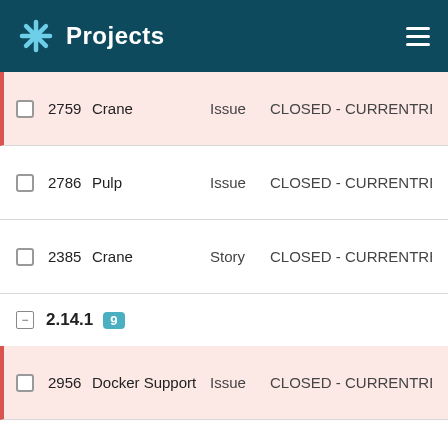Projects
2759  Crane  Issue  CLOSED - CURRENTRELE...
2786  Pulp  Issue  CLOSED - CURRENTRELE...
2385  Crane  Story  CLOSED - CURRENTRELE...
2.14.1  9
2956  Docker Support  Issue  CLOSED - CURRENTRELE...
2758  Pulp  Issue  CLOSED - CURRENTRELE...